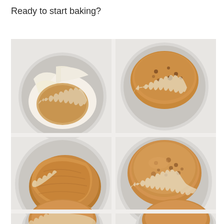Ready to start baking?
[Figure (photo): Overhead view of a muffin tin with baked muffins in paper liners. Top-left muffin is partially unwrapped/empty liner, top-right shows a muffin with chocolate chips, center-left shows a muffin tipped on its side, center-right shows a golden-brown muffin, and two more muffins are partially visible at the bottom.]